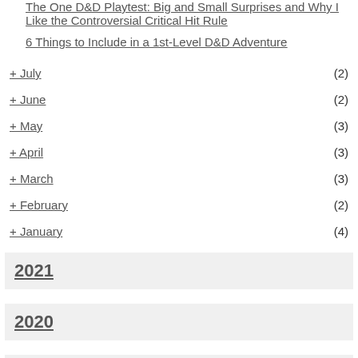The One D&D Playtest: Big and Small Surprises and Why I Like the Controversial Critical Hit Rule
6 Things to Include in a 1st-Level D&D Adventure
+ July (2)
+ June (2)
+ May (3)
+ April (3)
+ March (3)
+ February (2)
+ January (4)
2021
2020
2019
2018
2017